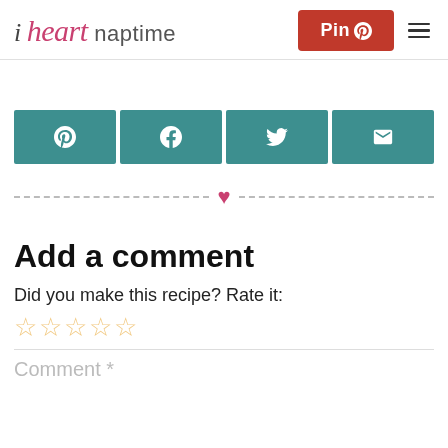i heart naptime — Pin
[Figure (other): Social share buttons bar with Pinterest, Facebook, Twitter, and Email icons on teal background]
[Figure (other): Dashed divider line with pink heart in center]
Add a comment
Did you make this recipe? Rate it:
★★★★★ (star rating row, unfilled)
Comment *